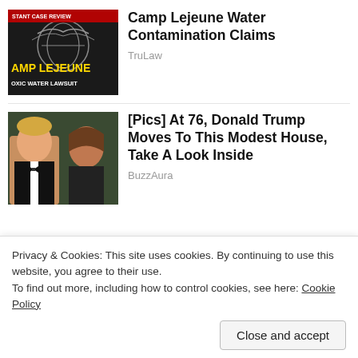[Figure (screenshot): Camp Lejeune toxic water lawsuit advertisement thumbnail — dark background with Marine Corps eagle globe and anchor emblem, yellow text 'AMP LEJEUNE', red text 'STANT CASE REVIEW', white text 'OXIC WATER LAWSUIT']
Camp Lejeune Water Contamination Claims
TruLaw
[Figure (photo): Photo of Donald Trump and Melania Trump at a formal event, both in formal attire, Trump in tuxedo and Melania in dark dress]
[Pics] At 76, Donald Trump Moves To This Modest House, Take A Look Inside
BuzzAura
[Figure (photo): Partial photo of a person in formal/wedding attire, cropped, background blurred]
Privacy & Cookies: This site uses cookies. By continuing to use this website, you agree to their use.
To find out more, including how to control cookies, see here: Cookie Policy
Close and accept